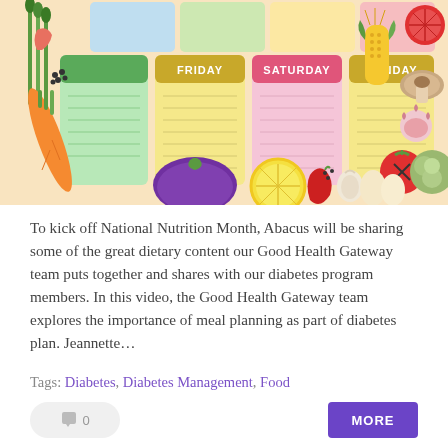[Figure (illustration): A colorful meal planning weekly planner illustration surrounded by vegetables and food items (carrots, asparagus, eggplant, lemon, corn, tomatoes, garlic, mushroom, cauliflower, eggs, chili pepper). The planner shows days of the week including FRIDAY, SATURDAY, SUNDAY labeled columns with lined note sections in blue, pink, and yellow.]
To kick off National Nutrition Month, Abacus will be sharing some of the great dietary content our Good Health Gateway team puts together and shares with our diabetes program members. In this video, the Good Health Gateway team explores the importance of meal planning as part of diabetes plan. Jeannette…
Tags: Diabetes, Diabetes Management, Food